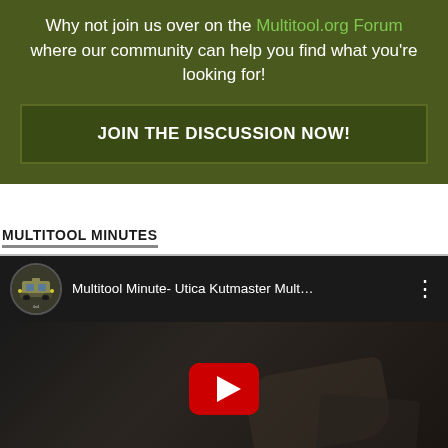Why not join us over on the Multitool.org Forum where our community can help you find what you're looking for!
JOIN THE DISCUSSION NOW!
MULTITOOL MINUTES
[Figure (screenshot): YouTube video embed thumbnail showing 'Multitool Minute- Utica Kutmaster Mult...' with a red play button in the center over a dark video thumbnail showing hands with a multitool, with a Jeep-themed channel avatar.]